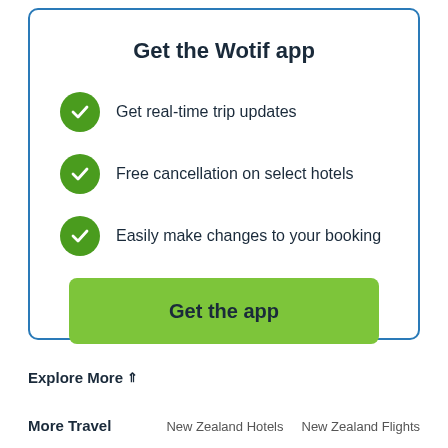Get the Wotif app
Get real-time trip updates
Free cancellation on select hotels
Easily make changes to your booking
Get the app
Explore More
More Travel
New Zealand Hotels   New Zealand Flights